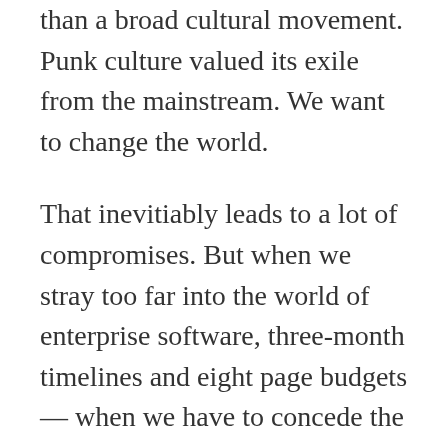than a broad cultural movement. Punk culture valued its exile from the mainstream. We want to change the world.
That inevitiably leads to a lot of compromises. But when we stray too far into the world of enterprise software, three-month timelines and eight page budgets — when we have to concede the assessment system will likely be a centralized corporate affair — on days like that, maybe edupunk is the cassette we throw into the tape deck on the way home, the tape that reminds us loudly of who we are, in three chords or less